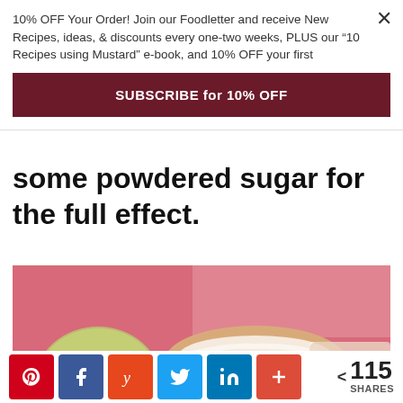10% OFF Your Order! Join our Foodletter and receive New Recipes, ideas, & discounts every one-two weeks, PLUS our “10 Recipes using Mustard” e-book, and 10% OFF your first
SUBSCRIBE for 10% OFF
some powdered sugar for the full effect.
[Figure (photo): A bundt cake dusted with powdered sugar, with a green apple in the background on a pink/red surface.]
< 115 SHARES